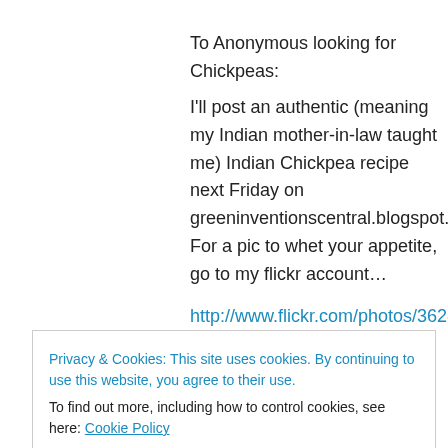To Anonymous looking for Chickpeas:
I'll post an authentic (meaning my Indian mother-in-law taught me) Indian Chickpea recipe next Friday on greeninventionscentral.blogspot.com. For a pic to whet your appetite, go to my flickr account…
http://www.flickr.com/photos/36286923@N00/389584511/
Sara, the sandwich looks awesome! I'm a
Privacy & Cookies: This site uses cookies. By continuing to use this website, you agree to their use.
To find out more, including how to control cookies, see here: Cookie Policy
Close and accept
L.L. Barkat on February 20, 2007 at 2:02 pm